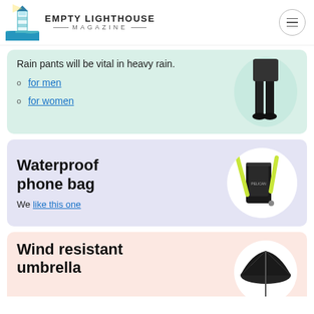EMPTY LIGHTHOUSE MAGAZINE
Rain pants will be vital in heavy rain.
for men
for women
Waterproof phone bag
We like this one
Wind resistant umbrella